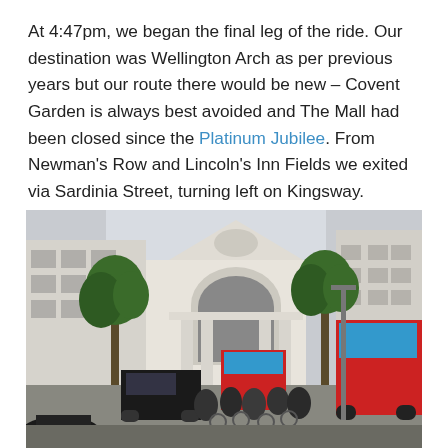At 4:47pm, we began the final leg of the ride. Our destination was Wellington Arch as per previous years but our route there would be new – Covent Garden is always best avoided and The Mall had been closed since the Platinum Jubilee. From Newman's Row and Lincoln's Inn Fields we exited via Sardinia Street, turning left on Kingsway.
[Figure (photo): Street scene on Kingsway, London. A neoclassical building with columns and a sculptural pediment is visible in the centre background. Red double-decker London buses are on the right. Trees line both sides. In the foreground, cyclists (appearing to be nude cyclists) and pedestrians are in traffic, along with a black cab and other vehicles.]